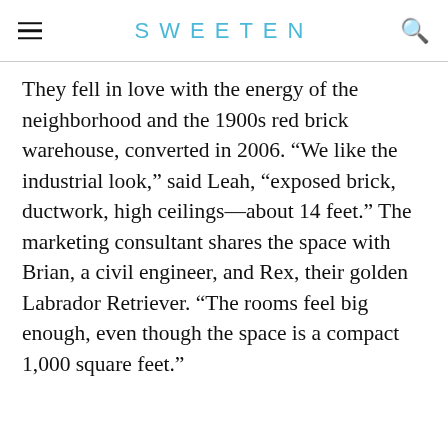SWEETEN
They fell in love with the energy of the neighborhood and the 1900s red brick warehouse, converted in 2006. “We like the industrial look,” said Leah, “exposed brick, ductwork, high ceilings—about 14 feet.” The marketing consultant shares the space with Brian, a civil engineer, and Rex, their golden Labrador Retriever. “The rooms feel big enough, even though the space is a compact 1,000 square feet.”